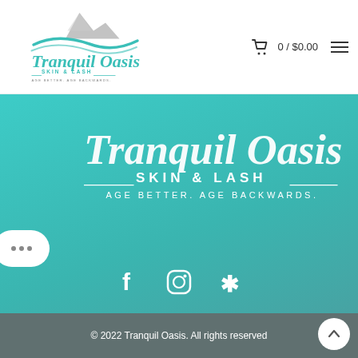[Figure (logo): Tranquil Oasis Skin & Lash logo in header — teal script text with mountain/wave graphic, tagline AGE BETTER. AGE BACKWARDS.]
0 / $0.00
[Figure (logo): Large Tranquil Oasis Skin & Lash logo on teal gradient background — white script and sans-serif text with tagline AGE BETTER. AGE BACKWARDS.]
[Figure (infographic): Social media icons: Facebook, Instagram, Yelp — white icons on teal background]
Address: 2937 Bee Ridge Road Suite 2, Sarasota, FL 34239
Phone:303-591-1970
© 2022 Tranquil Oasis. All rights reserved